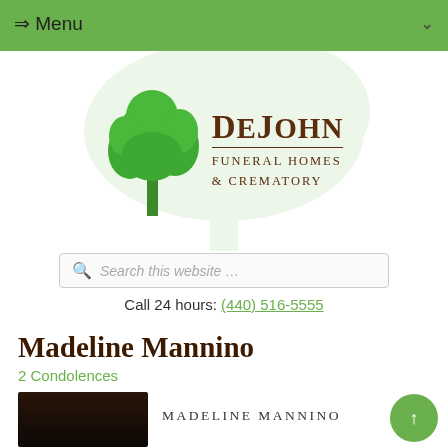⇒ Menu
[Figure (logo): DeJohn Funeral Homes & Crematory logo with green tree illustration and brown serif text]
Search this website …
Call 24 hours: (440) 516-5555
Madeline Mannino
2 Condolences
[Figure (photo): Portrait photo of Madeline Mannino, dark-toned image]
MADELINE MANNINO